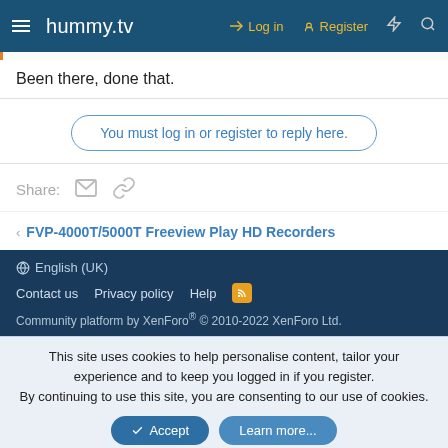hummy.tv — Log in | Register
Been there, done that.
You must log in or register to reply here.
Share:
< FVP-4000T/5000T Freeview Play HD Recorders
English (UK) — Contact us | Privacy policy | Help — Community platform by XenForo® © 2010-2022 XenForo Ltd.
This site uses cookies to help personalise content, tailor your experience and to keep you logged in if you register. By continuing to use this site, you are consenting to our use of cookies.